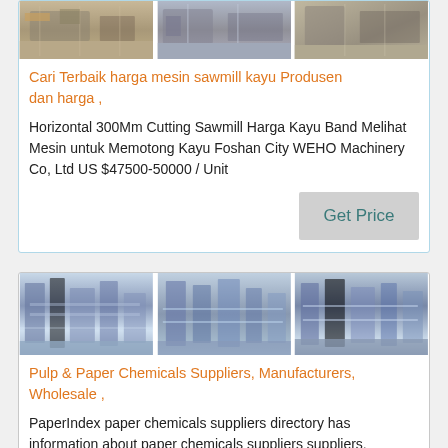[Figure (photo): Three factory/sawmill images in a row]
Cari Terbaik harga mesin sawmill kayu Produsen dan harga ,
Horizontal 300Mm Cutting Sawmill Harga Kayu Band Melihat Mesin untuk Memotong Kayu Foshan City WEHO Machinery Co, Ltd US $47500-50000 / Unit
Get Price
[Figure (photo): Three paper/chemical factory images in a row]
Pulp & Paper Chemicals Suppliers, Manufacturers, Wholesale ,
PaperIndex paper chemicals suppliers directory has information about paper chemicals suppliers suppliers,